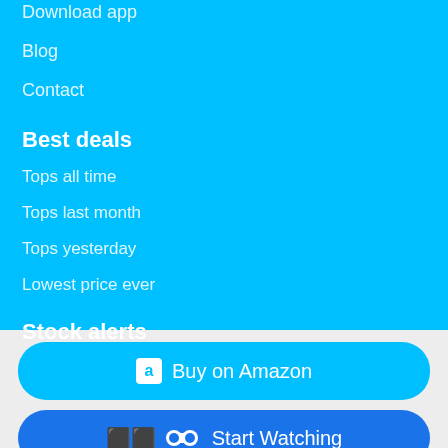Download app
Blog
Contact
Best deals
Tops all time
Tops last month
Tops yesterday
Lowest price ever
Stock alerts
Buy on Amazon
Start Watching